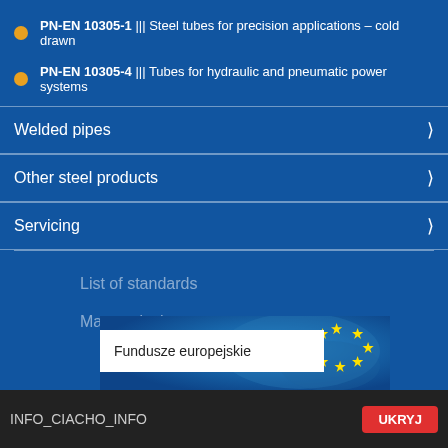PN-EN 10305-1 ||| Steel tubes for precision applications – cold drawn
PN-EN 10305-4 ||| Tubes for hydraulic and pneumatic power systems
Welded pipes
Other steel products
Servicing
List of standards
Mass calculator
[Figure (infographic): Fundusze europejskie banner with EU stars on blue background map]
INFO_CIACHO_INFO
UKRYJ